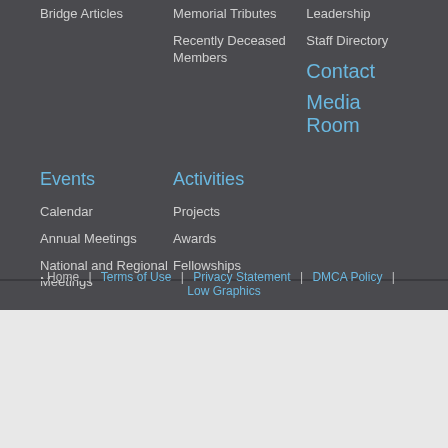Bridge Articles
Memorial Tributes
Recently Deceased Members
Leadership
Staff Directory
Contact
Media Room
Events
Activities
Calendar
Projects
Awards
Fellowships
Annual Meetings
National and Regional Meetings
Home | Terms of Use | Privacy Statement | DMCA Policy | Low Graphics
This site uses cookies. For more information on cookies visit: https://www.nationalacademies.org/legal/privacy
Accept All Cookies